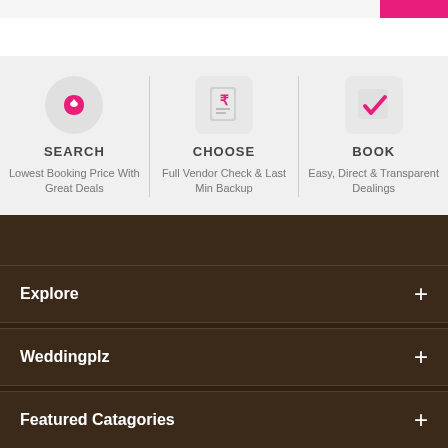[Figure (infographic): Three-column infographic with icons for SEARCH, CHOOSE, BOOK steps with descriptions]
SEARCH
Lowest Booking Price With Great Deals
CHOOSE
Full Vendor Check & Last Min Backup
BOOK
Easy, Direct & Transparent Dealings
Explore
Weddingplz
Featured Catagories